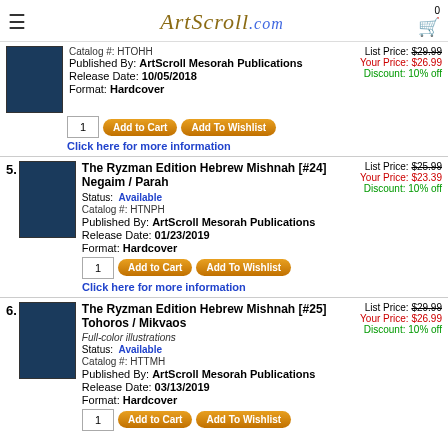ArtScroll.com
Catalog #: HTOHH | Published By: ArtScroll Mesorah Publications | Release Date: 10/05/2018 | Format: Hardcover | List Price: $29.99 | Your Price: $26.99 | Discount: 10% off
5. The Ryzman Edition Hebrew Mishnah [#24] Negaim / Parah | Status: Available | Catalog #: HTNPH | Published By: ArtScroll Mesorah Publications | Release Date: 01/23/2019 | Format: Hardcover | List Price: $25.99 | Your Price: $23.39 | Discount: 10% off
6. The Ryzman Edition Hebrew Mishnah [#25] Tohoros / Mikvaos | Full-color illustrations | Status: Available | Catalog #: HTTMH | Published By: ArtScroll Mesorah Publications | Release Date: 03/13/2019 | Format: Hardcover | List Price: $29.99 | Your Price: $26.99 | Discount: 10% off